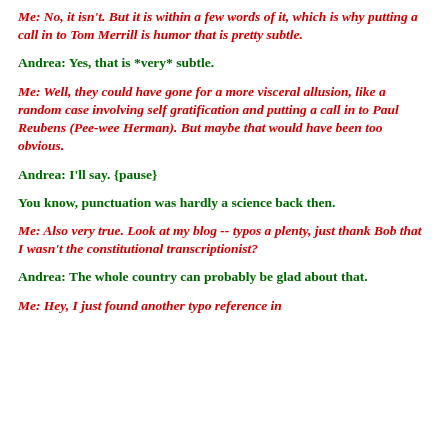Me: No, it isn't. But it is within a few words of it, which is why putting a call in to Tom Merrill is humor that is pretty subtle.
Andrea: Yes, that is *very* subtle.
Me: Well, they could have gone for a more visceral allusion, like a random case involving self gratification and putting a call in to Paul Reubens (Pee-wee Herman). But maybe that would have been too obvious.
Andrea: I'll say. {pause}
You know, punctuation was hardly a science back then.
Me: Also very true. Look at my blog -- typos a plenty, just thank Bob that I wasn't the constitutional transcriptionist?
Andrea: The whole country can probably be glad about that.
Me: Hey, I just found another typo reference in...